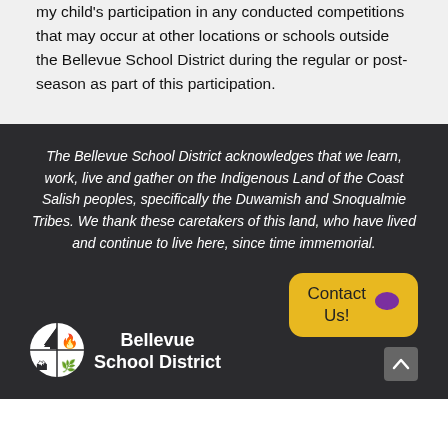my child's participation in any conducted competitions that may occur at other locations or schools outside the Bellevue School District during the regular or post-season as part of this participation.
The Bellevue School District acknowledges that we learn, work, live and gather on the Indigenous Land of the Coast Salish peoples, specifically the Duwamish and Snoqualmie Tribes. We thank these caretakers of this land, who have lived and continue to live here, since time immemorial.
[Figure (logo): Bellevue School District circular logo with mountain, tree, flame and compass symbols, white on dark background]
Bellevue School District
[Figure (other): Yellow rounded rectangle button with text 'Contact Us!' and a purple speech bubble emoji icon]